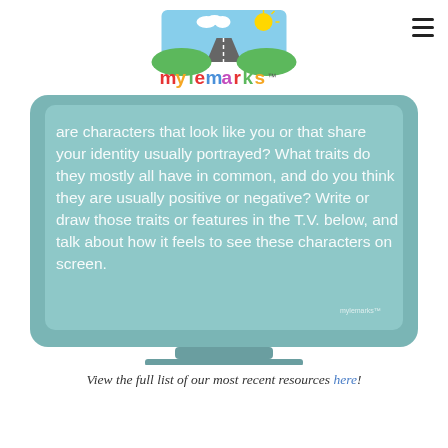[Figure (logo): Mylemarks logo with colorful text and illustrated road/sun scene above]
[Figure (illustration): A TV/monitor graphic with teal background containing text: 'are characters that look like you or that share your identity usually portrayed? What traits do they mostly all have in common, and do you think they are usually positive or negative? Write or draw those traits or features in the T.V. below, and talk about how it feels to see these characters on screen.']
View the full list of our most recent resources here!